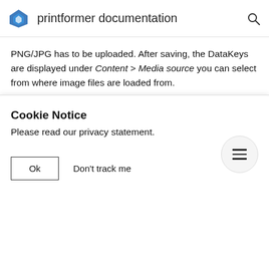printformer documentation
PNG/JPG has to be uploaded. After saving, the DataKeys are displayed under Content > Media source you can select from where image files are loaded from.
Usage as page planning (feed)
Article templates can be automatically filled with content (texts/images) using a Feed (page planning).
Cookie Notice
Please read our privacy statement.
Ok
Don't track me